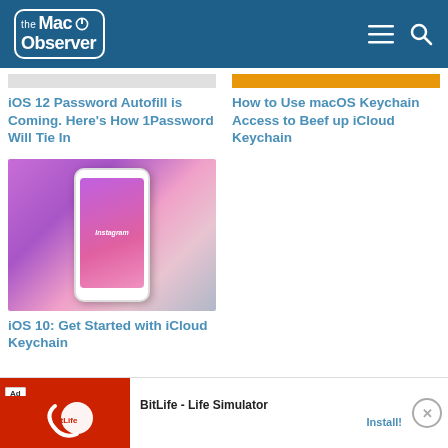the Mac Observer
iOS 12 Password Autofill is Coming. Here’s How 1Password Will Tie In
How to Use macOS Keychain Access to Beef up iCloud Keychain
[Figure (photo): Hand holding a white iPhone displaying Instagram login screen with purple/pink gradient background]
iOS 10: Get Started with iCloud Keychain
[Figure (screenshot): Ad banner for BitLife - Life Simulator with red background and sperm logo]